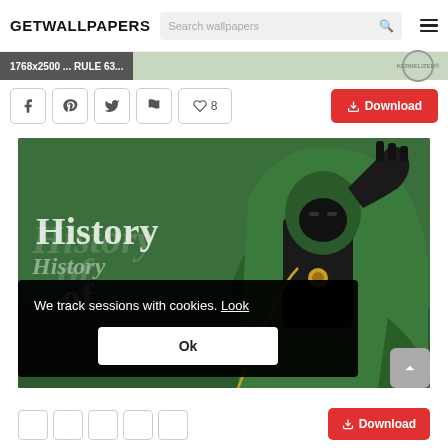GETWALLPAPERS
1768x2500 ... RULE 63...
♡ 8   Download
[Figure (illustration): Comic book style illustration of Doctor Doom character in green cloak and black armor, raising a gauntleted fist, on a dark green background, with 'History of' text overlay]
We track sessions with cookies. Look
Ok
Download